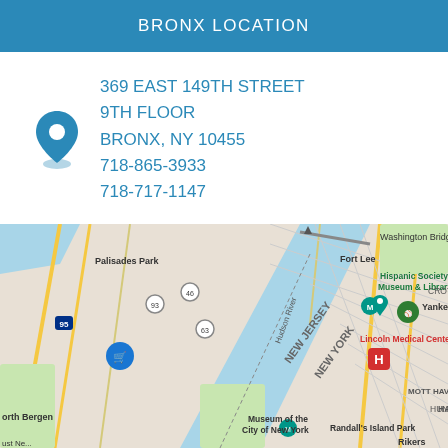BRONX LOCATION
369 EAST 149TH STREET
9TH FLOOR
BRONX, NY 10455
718-865-3933
718-717-1147
[Figure (map): Google Maps screenshot showing the Bronx/Upper Manhattan area, including landmarks such as Washington Bridge, Hispanic Society Museum & Library, Yankee Stadium, Lincoln Medical Center, Harlem, Mott Haven, New Jersey/New York border along Hudson River, Palisades Park, Fort Lee, Museum of the City of New York, and Randall's Island Park.]